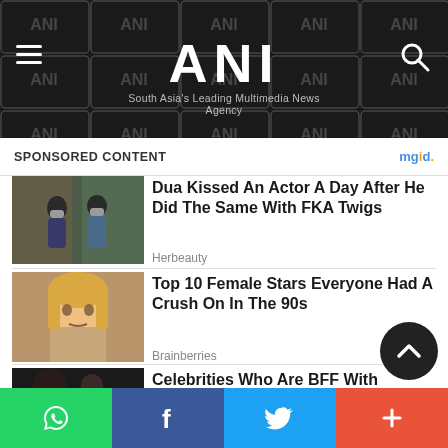ANI - South Asia's Leading Multimedia News Agency
SPONSORED CONTENT
[Figure (photo): Two people wearing face masks walking outdoors near a vehicle]
Dua Kissed An Actor A Day After He Did The Same With FKA Twigs
Herbeauty
[Figure (photo): Close-up of a blonde woman with straight hair against a dark background]
Top 10 Female Stars Everyone Had A Crush On In The 90s
Brainberries
[Figure (photo): A man in a suit being dressed by someone]
Celebrities Who Are BFF With Their Moms
Brainberries
WhatsApp | Facebook | Twitter | More